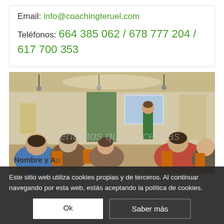Email: info@coachingteruel.com
Teléfonos: 664 385 062 / 678 777 204 / 617 700 353
[Figure (photo): A presenter standing at the front of a room with audience members seated in chairs, viewed from behind, in what appears to be a gallery or event space with warm lighting.]
Cuéntanos que necesitas
Nombre y Apellidos
Este sitio web utiliza cookies propias y de terceros. Al continuar navegando por esta web, estás aceptando la política de cookies.
Ok
Saber más